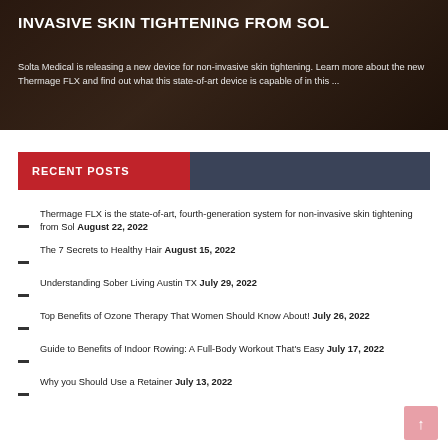INVASIVE SKIN TIGHTENING FROM SOL
Solta Medical is releasing a new device for non-invasive skin tightening. Learn more about the new Thermage FLX and find out what this state-of-art device is capable of in this ...
RECENT POSTS
Thermage FLX is the state-of-art, fourth-generation system for non-invasive skin tightening from Sol August 22, 2022
The 7 Secrets to Healthy Hair August 15, 2022
Understanding Sober Living Austin TX July 29, 2022
Top Benefits of Ozone Therapy That Women Should Know About! July 26, 2022
Guide to Benefits of Indoor Rowing: A Full-Body Workout That's Easy July 17, 2022
Why you Should Use a Retainer July 13, 2022